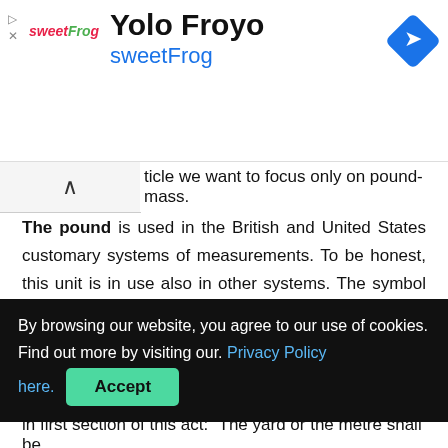[Figure (infographic): Advertisement banner for Yolo Froyo / sweetFrog with logo, navigation icon, and ad controls]
ticle we want to focus only on pound-mass.
The pound is used in the British and United States customary systems of measurements. To be honest, this unit is in use also in other systems. The symbol of the pound is lb or ".
There is no descriptive definition of the international avoirdupois pound. It is defined as 0.45359237 kilograms.
By browsing our website, you agree to our use of cookies. Find out more by visiting our. Privacy Policy here. Accept
in first section of this act: “The yard or the metre shall be